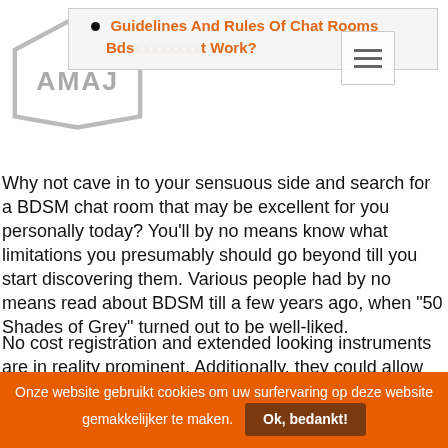Guidelines And Rules Of Chat Rooms
Bds t Work?
Why not cave in to your sensuous side and search for a BDSM chat room that may be excellent for you personally today? You'll by no means know what limitations you presumably should go beyond till you start discovering them. Various people had by no means read about BDSM till a few years ago, when “50 Shades of Grey” turned out to be well-liked.
No cost registration and extended looking instruments are in reality prominent. Additionally, they could allow you to to seek out the affiliate you need within an hour. The very best data is the fact you don’t need to publish your photo, however it’s a duty to upload a
Onze website gebruikt cookies om uw surfervaring op deze website gemakkelijker te maken.  Ok, bedankt!